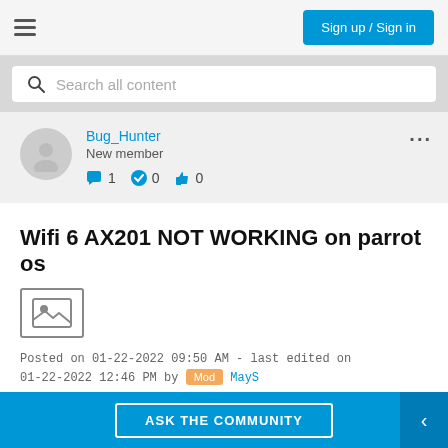Sign up / Sign in
Search all content
Bug_Hunter
New member
1  0  0
Wifi 6 AX201 NOT WORKING on parrot os
[Figure (illustration): Image placeholder icon]
Posted on 01-22-2022 09:50 AM - last edited on 01-22-2022 12:46 PM by Mod MayS
Operating System: Linux
ASK THE COMMUNITY